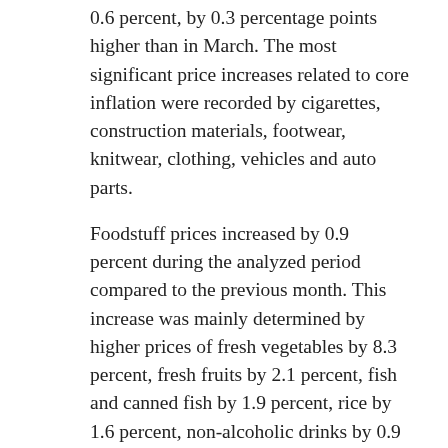0.6 percent, by 0.3 percentage points higher than in March. The most significant price increases related to core inflation were recorded by cigarettes, construction materials, footwear, knitwear, clothing, vehicles and auto parts.
Foodstuff prices increased by 0.9 percent during the analyzed period compared to the previous month. This increase was mainly determined by higher prices of fresh vegetables by 8.3 percent, fresh fruits by 2.1 percent, fish and canned fish by 1.9 percent, rice by 1.6 percent, non-alcoholic drinks by 0.9 percent and meat and meat products by 0.8 percent, being partially offset by the reduction in prices of eggs by 8.9 percent and potatoes by 2.9 percent.